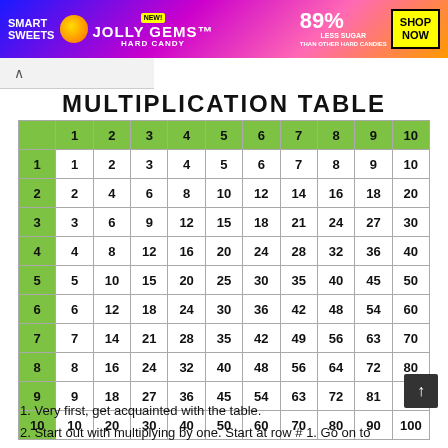[Figure (infographic): Smart Sweets Jolly Gems Hard Candy advertisement banner. 89% Less Sugar than other hard candies. Shop Now button.]
MULTIPLICATION TABLE
|  | 1 | 2 | 3 | 4 | 5 | 6 | 7 | 8 | 9 | 10 |
| --- | --- | --- | --- | --- | --- | --- | --- | --- | --- | --- |
| 1 | 1 | 2 | 3 | 4 | 5 | 6 | 7 | 8 | 9 | 10 |
| 2 | 2 | 4 | 6 | 8 | 10 | 12 | 14 | 16 | 18 | 20 |
| 3 | 3 | 6 | 9 | 12 | 15 | 18 | 21 | 24 | 27 | 30 |
| 4 | 4 | 8 | 12 | 16 | 20 | 24 | 28 | 32 | 36 | 40 |
| 5 | 5 | 10 | 15 | 20 | 25 | 30 | 35 | 40 | 45 | 50 |
| 6 | 6 | 12 | 18 | 24 | 30 | 36 | 42 | 48 | 54 | 60 |
| 7 | 7 | 14 | 21 | 28 | 35 | 42 | 49 | 56 | 63 | 70 |
| 8 | 8 | 16 | 24 | 32 | 40 | 48 | 56 | 64 | 72 | 80 |
| 9 | 9 | 18 | 27 | 36 | 45 | 54 | 63 | 72 | 81 | 90 |
| 10 | 10 | 20 | 30 | 40 | 50 | 60 | 70 | 80 | 90 | 100 |
1. Very first, get acquainted with the table.
2. Start out with multiplying by one. Start at row # 1. Go on to